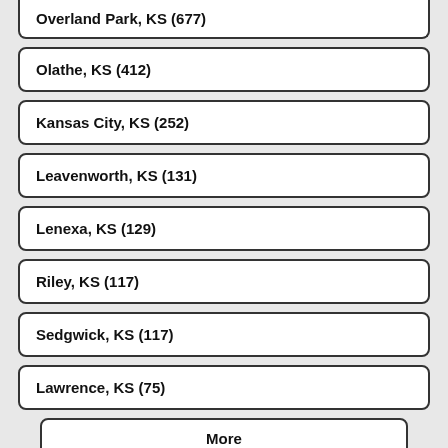Overland Park, KS (677)
Olathe, KS (412)
Kansas City, KS (252)
Leavenworth, KS (131)
Lenexa, KS (129)
Riley, KS (117)
Sedgwick, KS (117)
Lawrence, KS (75)
More
Filter by Title